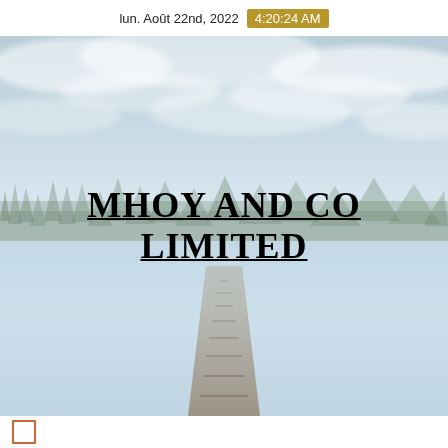lun. Août 22nd, 2022  4:20:24 AM
[Figure (photo): Scenic lake with wooden dock extending into calm water, forested treeline in background, overcast sky — used as background cover image for company document]
MHOY AND CO LIMITED